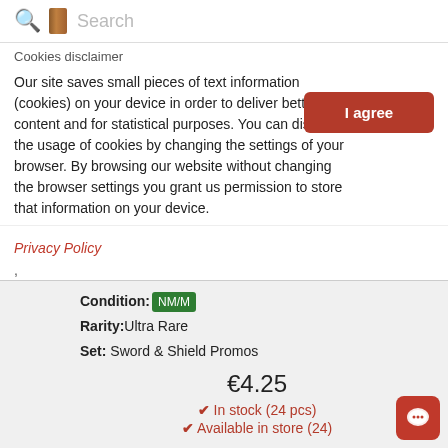Search
Cookies disclaimer
Our site saves small pieces of text information (cookies) on your device in order to deliver better content and for statistical purposes. You can disable the usage of cookies by changing the settings of your browser. By browsing our website without changing the browser settings you grant us permission to store that information on your device.
Privacy Policy
Condition: NM/M
Rarity: Ultra Rare
Set: Sword & Shield Promos
€4.25
✔ In stock (24 pcs)
✔ Available in store (24)